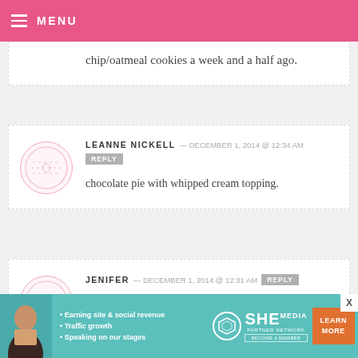MENU
chip/oatmeal cookies a week and a half ago.
LEANNE NICKELL — DECEMBER 1, 2014 @ 12:34 AM REPLY
chocolate pie with whipped cream topping.
JENIFER — DECEMBER 1, 2014 @ 12:31 AM REPLY
[Figure (infographic): SHE Partner Network advertisement banner with photo, bullet points about earning site & social revenue, traffic growth, speaking on stages, SHE logo, and Learn More button]